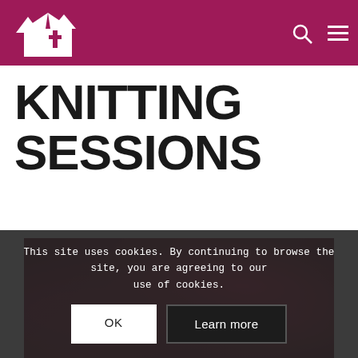Church website header with logo and navigation icons
KNITTING SESSIONS
[Figure (photo): Photo of red knitted items, partially visible behind cookie consent overlay]
This site uses cookies. By continuing to browse the site, you are agreeing to our use of cookies.
OK  Learn more